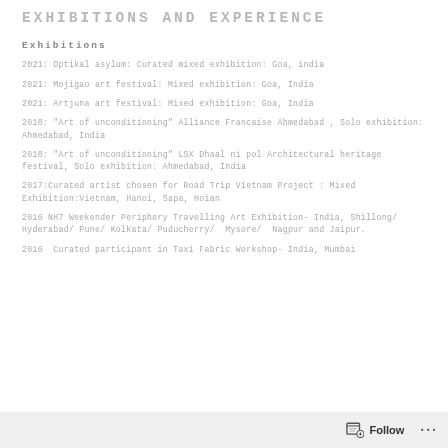EXHIBITIONS AND EXPERIENCE
Exhibitions
2021: Optikal asylum: Curated mixed exhibition: Goa, india
2021: Mojigao art festival: Mixed exhibition: Goa, India
2021: Artjuna art festival: Mixed exhibition: Goa, India
2018: "Art of unconditioning" Alliance Francaise Ahmedabad , Solo exhibition: Ahmedabad, India
2018: "Art of unconditioning" LSX Dhaal ni pol Architectural heritage festival, Solo exhibition: Ahmedabad, India
2017:Curated artist chosen for Road Trip Vietnam Project : Mixed Exhibition:Vietnam, Hanoi, Sapa, Hoian
2016 NH7 Weekender Periphery Travelling Art Exhibition- India, Shillong/ Hyderabad/ Pune/ Kolkata/ Puducherry/  Mysore/  Nagpur and Jaipur.
2016  Curated participant in Taxi Fabric Workshop- India, Mumbai
Follow